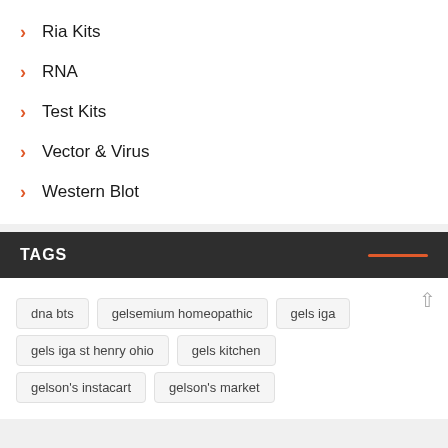Ria Kits
RNA
Test Kits
Vector & Virus
Western Blot
TAGS
dna bts
gelsemium homeopathic
gels iga
gels iga st henry ohio
gels kitchen
gelson's instacart
gelson's market